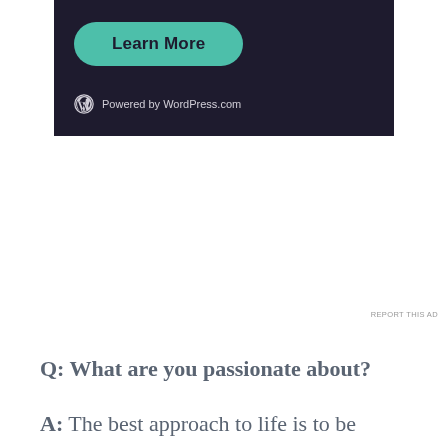[Figure (screenshot): Dark-themed advertisement widget with a teal 'Learn More' rounded button and 'Powered by WordPress.com' text with WordPress logo at the bottom.]
REPORT THIS AD
Q: What are you passionate about?
A: The best approach to life is to be